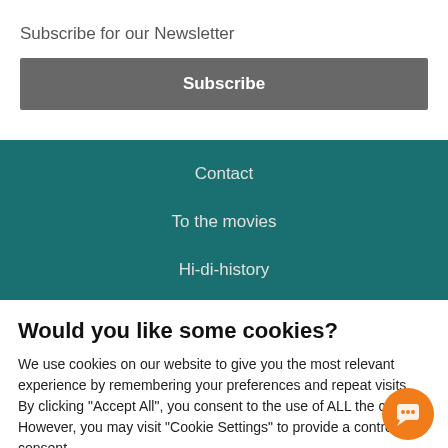×
Subscribe for our Newsletter
Subscribe
Contact
To the movies
Hi-di-history
Would you like some cookies?
We use cookies on our website to give you the most relevant experience by remembering your preferences and repeat visits. By clicking "Accept All", you consent to the use of ALL the cookies. However, you may visit "Cookie Settings" to provide a controlled consent.
Cookie Settings
Accept All